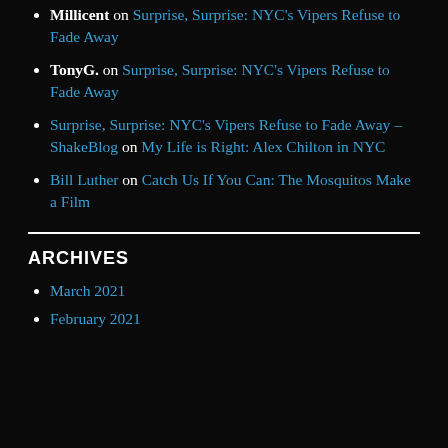Millicent on Surprise, Surprise: NYC's Vipers Refuse to Fade Away
TonyG. on Surprise, Surprise: NYC's Vipers Refuse to Fade Away
Surprise, Surprise: NYC's Vipers Refuse to Fade Away – ShakeBlog on My Life is Right: Alex Chilton in NYC
Bill Luther on Catch Us If You Can: The Mosquitos Make a Film
ARCHIVES
March 2021
February 2021